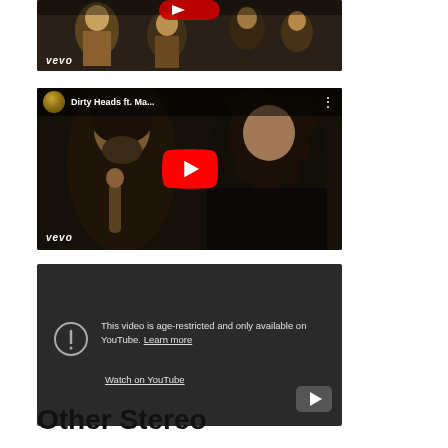[Figure (screenshot): Partial YouTube/Vevo video thumbnail showing concert scene with audience, vevo logo at bottom left]
[Figure (screenshot): YouTube video thumbnail for Dirty Heads ft. Ma... with red play button overlay and vevo logo, showing two people]
[Figure (screenshot): YouTube embedded video showing age-restriction message: 'This video is age-restricted and only available on YouTube. Learn more' with Watch on YouTube link and YouTube icon bottom right]
Other Stereo